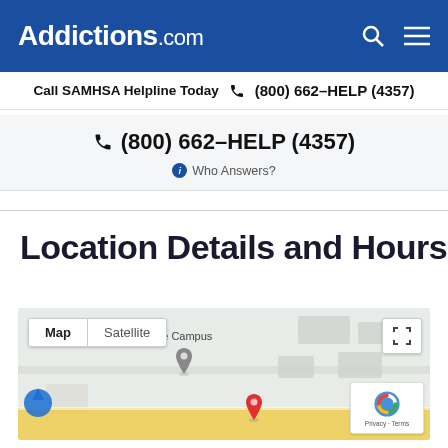Addictions.com
Call SAMHSA Helpline Today (800) 662-HELP (4357)
(800) 662-HELP (4357) Who Answers?
Location Details and Hours
[Figure (map): Google Map showing location with 'Tri Canine Campus' label, gray location pin, red location pin, Map/Satellite toggle controls, fullscreen button, and reCAPTCHA badge. Yellow road visible at bottom.]